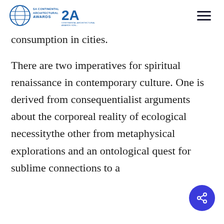2A Continental Architectural Awards
consumption in cities.
There are two imperatives for spiritual renaissance in contemporary culture. One is derived from consequentialist arguments about the corporeal reality of ecological necessitythe other from metaphysical explorations and an ontological quest for sublime connections to a